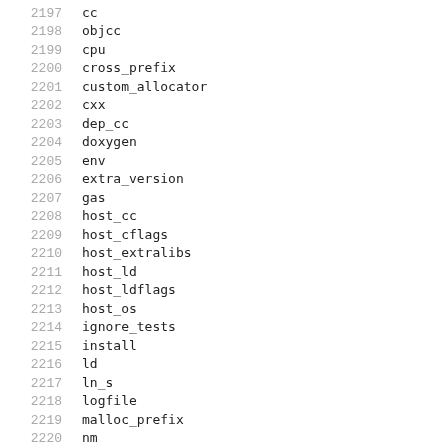2197  cc
2198  objcc
2199  cpu
2200  cross_prefix
2201  custom_allocator
2202  cxx
2203  dep_cc
2204  doxygen
2205  env
2206  extra_version
2207  gas
2208  host_cc
2209  host_cflags
2210  host_extralibs
2211  host_ld
2212  host_ldflags
2213  host_os
2214  ignore_tests
2215  install
2216  ld
2217  ln_s
2218  logfile
2219  malloc_prefix
2220  nm
2221  optflags
2222  pkg_config
2223  pkg_config_flags
2224  progs_suffix
2225  random_seed
2226  ranlib
2227  samples
2228  strip
2229  ...